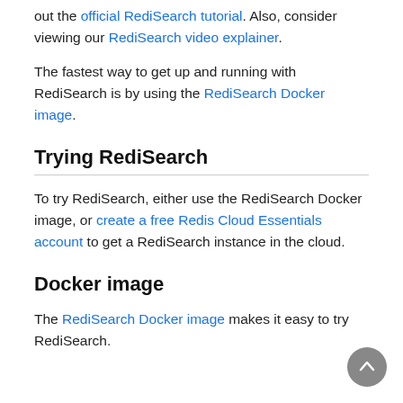out the official RediSearch tutorial. Also, consider viewing our RediSearch video explainer.
The fastest way to get up and running with RediSearch is by using the RediSearch Docker image.
Trying RediSearch
To try RediSearch, either use the RediSearch Docker image, or create a free Redis Cloud Essentials account to get a RediSearch instance in the cloud.
Docker image
The RediSearch Docker image makes it easy to try RediSearch.